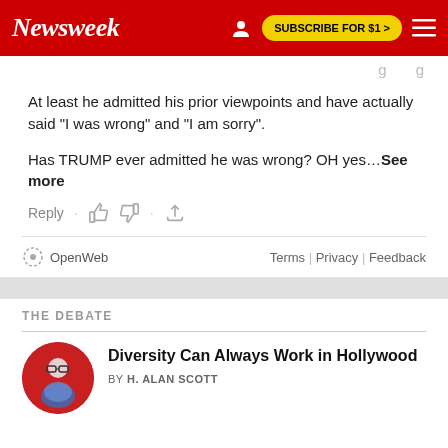Newsweek — SUBSCRIBE FOR $1 >
At least he admitted his prior viewpoints and have actually said "I was wrong" and "I am sorry".
Has TRUMP ever admitted he was wrong? OH yes…See more
Reply
OpenWeb   Terms | Privacy | Feedback
THE DEBATE
Diversity Can Always Work in Hollywood
BY H. ALAN SCOTT